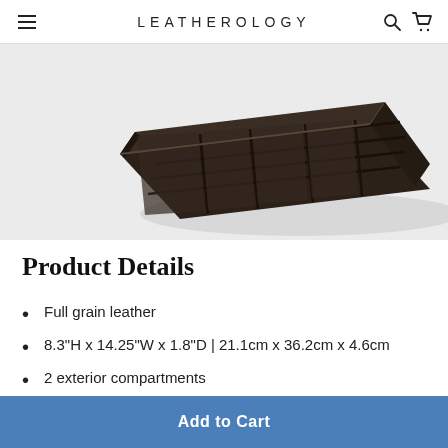LEATHEROLOGY
[Figure (photo): Dark brown leather valet tray or organizer box viewed from above at an angle, showing divided compartments inside, on a white background.]
Product Details
Full grain leather
8.3"H x 14.25"W x 1.8"D | 21.1cm x 36.2cm x 4.6cm
2 exterior compartments
1 large covered compartment
1 large covered compartment with 4 divided slots
Add to Cart